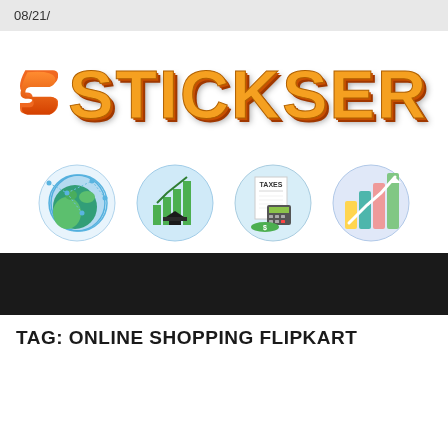08/21/
[Figure (logo): Stickser logo with orange S icon and bold orange STICKSER text]
[Figure (illustration): Four circular icons: globe with network lines, bar chart with graduation cap, taxes receipt with calculator and dollar, colorful bar chart with arrow]
TAG: ONLINE SHOPPING FLIPKART